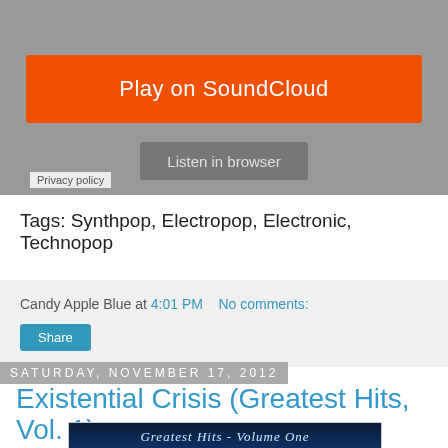[Figure (screenshot): SoundCloud embedded player widget with orange 'Play on SoundCloud' button and grey 'Listen in browser' button on grey background]
Privacy policy
Tags: Synthpop, Electropop, Electronic, Technopop
Candy Apple Blue at 4:01 PM    No comments:
Share
Saturday, November 17, 2012
Existential Crisis (Greatest Hits, Vol. 1)
[Figure (photo): Album cover image for 'Greatest Hits - Volume One' with blue toned artwork and cursive text]